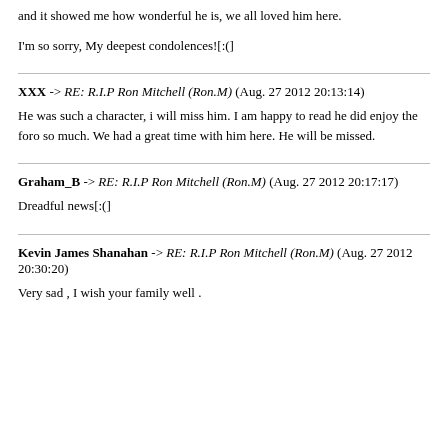and it showed me how wonderful he is, we all loved him here.
I'm so sorry, My deepest condolences![:()]
XXX -> RE: R.I.P Ron Mitchell (Ron.M) (Aug. 27 2012 20:13:14)
He was such a character, i will miss him. I am happy to read he did enjoy the foro so much. We had a great time with him here. He will be missed.
Graham_B -> RE: R.I.P Ron Mitchell (Ron.M) (Aug. 27 2012 20:17:17)
Dreadful news[:(]
Kevin James Shanahan -> RE: R.I.P Ron Mitchell (Ron.M) (Aug. 27 2012 20:30:20)
Very sad , I wish your family well .